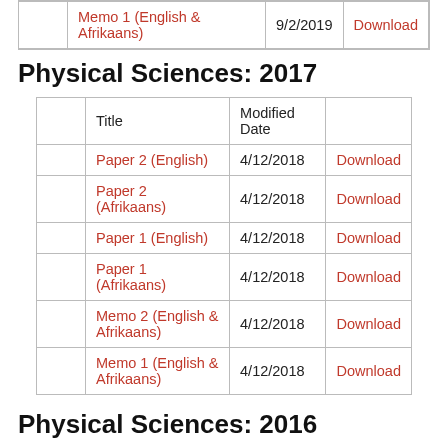|  | Title | Modified Date |  |
| --- | --- | --- | --- |
|  | Memo 1 (English & Afrikaans) | 9/2/2019 | Download |
Physical Sciences: 2017
|  | Title | Modified Date |  |
| --- | --- | --- | --- |
|  | Paper 2 (English) | 4/12/2018 | Download |
|  | Paper 2 (Afrikaans) | 4/12/2018 | Download |
|  | Paper 1 (English) | 4/12/2018 | Download |
|  | Paper 1 (Afrikaans) | 4/12/2018 | Download |
|  | Memo 2 (English & Afrikaans) | 4/12/2018 | Download |
|  | Memo 1 (English & Afrikaans) | 4/12/2018 | Download |
Physical Sciences: 2016
|  | Title | Modified Date |  |
| --- | --- | --- | --- |
|  | Paper 2 (English) | 4/12/2018 | Download |
|  | Paper 2 (Afrikaans) | 4/12/2018 | Download |
|  | Paper 1 (English) | 4/12/2018 | Download |